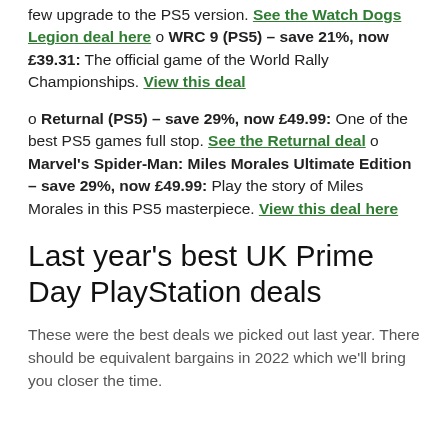few upgrade to the PS5 version. See the Watch Dogs Legion deal here o WRC 9 (PS5) – save 21%, now £39.31: The official game of the World Rally Championships. View this deal
o Returnal (PS5) – save 29%, now £49.99: One of the best PS5 games full stop. See the Returnal deal o Marvel's Spider-Man: Miles Morales Ultimate Edition – save 29%, now £49.99: Play the story of Miles Morales in this PS5 masterpiece. View this deal here
Last year's best UK Prime Day PlayStation deals
These were the best deals we picked out last year. There should be equivalent bargains in 2022 which we'll bring you closer the time.